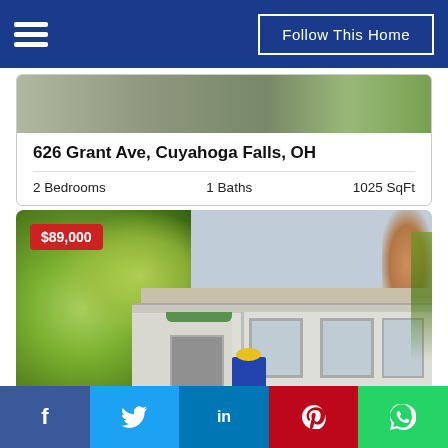Follow This Home
[Figure (photo): Exterior photo of house with driveway and garden at 626 Grant Ave]
626 Grant Ave, Cuyahoga Falls, OH
2 Bedrooms   1 Baths   1025 SqFt
[Figure (photo): Exterior photo of house at $89,000 listing price showing white Victorian-style home with green foliage]
f   t   in   P   (whatsapp icon)